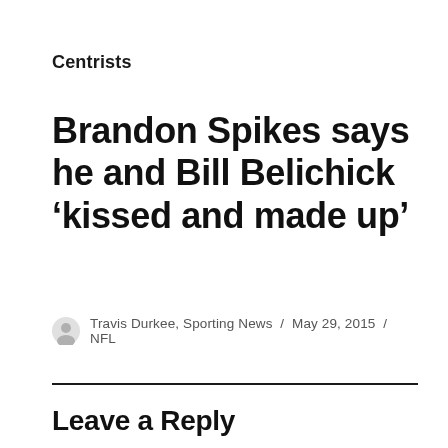Centrists
Brandon Spikes says he and Bill Belichick ‘kissed and made up’
Travis Durkee, Sporting News / May 29, 2015 / NFL
Leave a Reply